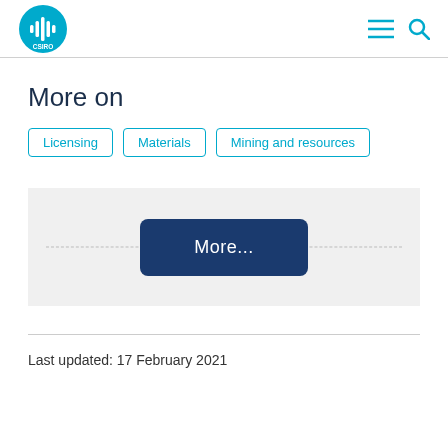CSIRO
More on
Licensing
Materials
Mining and resources
[Figure (other): Pagination button area with dashed line and blue 'More...' button]
Last updated: 17 February 2021